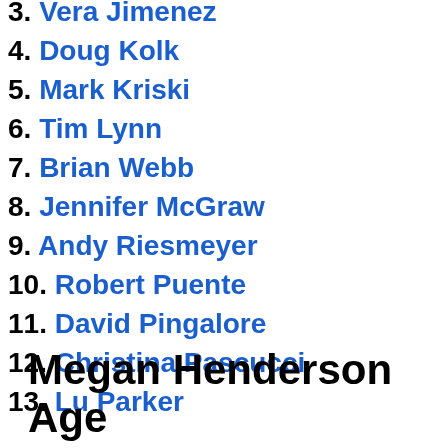3. Vera Jimenez
4. Doug Kolk
5. Mark Kriski
6. Tim Lynn
7. Brian Webb
8. Jennifer McGraw
9. Andy Riesmeyer
10. Robert Puente
11. David Pingalore
12. Christina Pascucci
13. Lu Parker
Megan Henderson Age